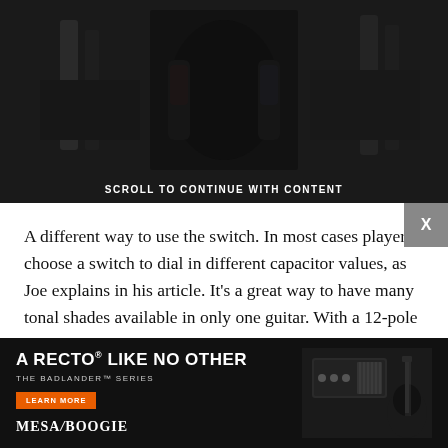[Figure (photo): Photo of a tattooed musician holding guitars in front of guitar cases, dark background]
SCROLL TO CONTINUE WITH CONTENT
A different way to use the switch. In most cases players choose a switch to dial in different capacitor values, as Joe explains in his article. It's a great way to have many tonal shades available in only one guitar. With a 12-pole switch, you can connect 12 caps, and that's a lot. It can be difficult to add so many caps, depending on the guitar's available space. It's not much fun in a Telecaster, for example, but is relatively stress-free in a standard Strat. So using very small caps, or a unit with SMD (surfa... ToneS...
[Figure (photo): Mesa/Boogie advertisement: A Recto Like No Other - The Badlander Series, with Mesa/Boogie logo and image of a guitar amp head and electric guitar]
Here's ... 12-pole switch with ll... and ll19... int... (Th...